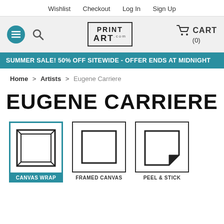Wishlist  Checkout  Log In  Sign Up
[Figure (screenshot): Website header with hamburger menu (teal circle), search icon, PrintArt.com logo, and CART (0) icon]
SUMMER SALE! 50% OFF SITEWIDE - OFFER ENDS AT MIDNIGHT
Home > Artists > Eugene Carriere
EUGENE CARRIERE
[Figure (illustration): Three product type icons: Canvas Wrap (selected, teal border), Framed Canvas, Peel & Stick with labels below]